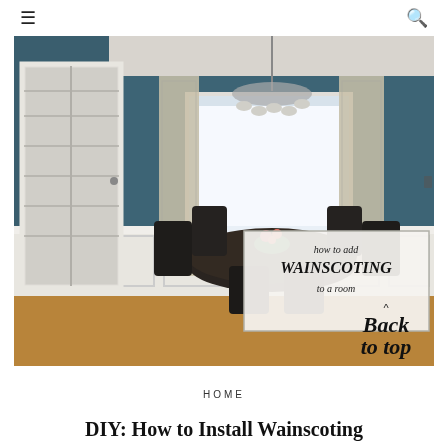≡  [search icon]
[Figure (photo): Dining room with dark teal/blue walls, white wainscoting panels on lower half, round dark wood table with dark upholstered chairs, chandelier, French doors on left, window with patterned curtains in background. Overlay text box: 'how to add WAINSCOTING to a room']
HOME
DIY: How to Install Wainscoting